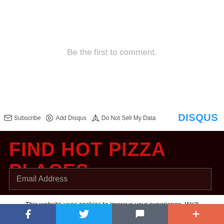Be the first to comment.
Subscribe  Add Disqus  Do Not Sell My Data   DISQUS
FIND HOT PIZZA PLACES
Email Address
This website uses cookies to improve your experience. We'll assume you're ok with this, but you can opt-out if you wish.
[Figure (other): Social share bar with Facebook, Twitter, email, and add buttons]